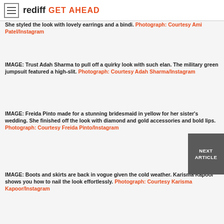rediff GET AHEAD
She styled the look with lovely earrings and a bindi. Photograph: Courtesy Ami Patel/Instagram
IMAGE: Trust Adah Sharma to pull off a quirky look with such elan. The military green jumpsuit featured a high-slit. Photograph: Courtesy Adah Sharma/Instagram
IMAGE: Freida Pinto made for a stunning bridesmaid in yellow for her sister's wedding. She finished off the look with diamond and gold accessories and bold lips. Photograph: Courtesy Freida Pinto/Instagram
IMAGE: Boots and skirts are back in vogue given the cold weather. Karisma Kapoor shows you how to nail the look effortlessly. Photograph: Courtesy Karisma Kapoor/Instagram